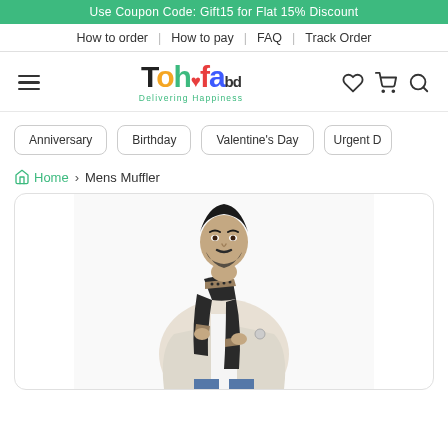Use Coupon Code: Gift15 for Flat 15% Discount
How to order | How to pay | FAQ | Track Order
[Figure (logo): Tohfa.bd logo with colorful letters and 'Delivering Happiness' tagline]
Anniversary
Birthday
Valentine's Day
Urgent D
Home › Mens Muffler
[Figure (photo): Man wearing a black and beige patterned muffler/scarf with a white blazer and jeans]